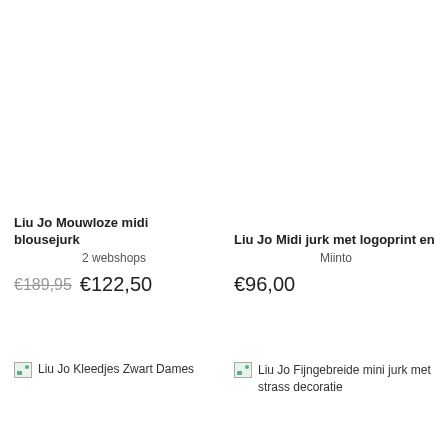[Figure (photo): Product image placeholder for Liu Jo Mouwloze midi blousejurk (broken image icon)]
Liu Jo Mouwloze midi blousejurk
2 webshops
€189,95 €122,50
[Figure (photo): Product image placeholder for Liu Jo Midi jurk met logoprint en (broken image icon)]
Liu Jo Midi jurk met logoprint en
Miinto
€96,00
[Figure (photo): Broken image placeholder with alt text: Liu Jo Kleedjes Zwart Dames]
[Figure (photo): Broken image placeholder with alt text: Liu Jo Fijngebreide mini jurk met strass decoratie]